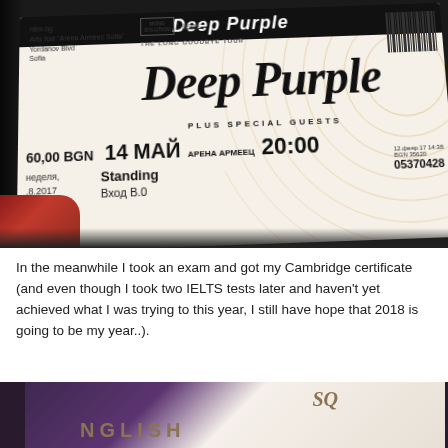[Figure (photo): A concert ticket for Deep Purple 'The Long Goodbye Tour' at Arena Armeec Sofia, 14 May, 20:00, Standing, Вход B.0, price 60.00 BGN, photographed being held by a hand with red nails]
In the meanwhile I took an exam and got my Cambridge certificate (and even though I took two IELTS tests later and haven't yet achieved what I was trying to this year, I still have hope that 2018 is going to be my year..).
[Figure (photo): Partial photo of a Cambridge English certificate document with decorative logo, shown on a dark purple background]